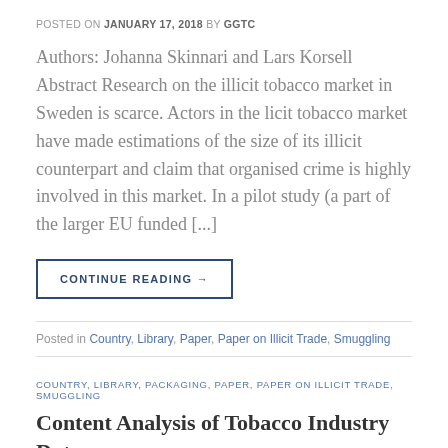POSTED ON JANUARY 17, 2018 BY GGTC
Authors: Johanna Skinnari and Lars Korsell  Abstract Research on the illicit tobacco market in Sweden is scarce. Actors in the licit tobacco market have made estimations of the size of its illicit counterpart and claim that organised crime is highly involved in this market. In a pilot study (a part of the larger EU funded [...]
CONTINUE READING →
Posted in Country, Library, Paper, Paper on Illicit Trade, Smuggling
COUNTRY, LIBRARY, PACKAGING, PAPER, PAPER ON ILLICIT TRADE, SMUGGLING
Content Analysis of Tobacco Industry Data on the Illicit Tobacco Trade in UK Newspapers